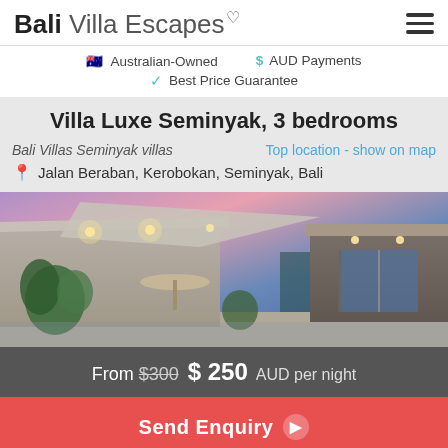Bali Villa Escapes
Australian-Owned   $ AUD Payments   Best Price Guarantee
Villa Luxe Seminyak, 3 bedrooms
Bali Villas Seminyak villas   Top location - show on map
Jalan Beraban, Kerobokan, Seminyak, Bali
[Figure (photo): Exterior photo of Villa Luxe Seminyak at dusk/twilight, showing modern villa with flat roof, shade sail, lit recessed ceiling lights, tropical plants, and sliding glass doors. Purple and pink sky in background.]
From $300 $ 250 AUD per night
Send Enquiry ▶